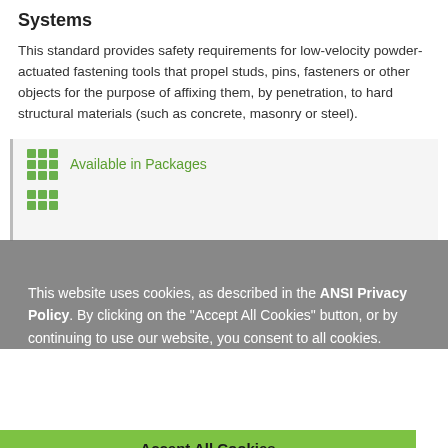Systems
This standard provides safety requirements for low-velocity powder-actuated fastening tools that propel studs, pins, fasteners or other objects for the purpose of affixing them, by penetration, to hard structural materials (such as concrete, masonry or steel).
Available in Packages
(partially visible second row icon)
This website uses cookies, as described in the ANSI Privacy Policy. By clicking on the "Accept All Cookies" button, or by continuing to use our website, you consent to all cookies.
Accept All Cookies
ANSI/ASSE A10.4 2016